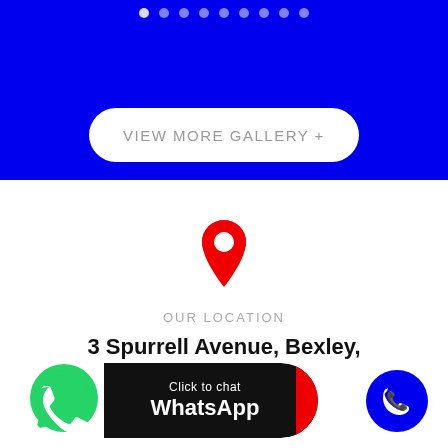[Figure (other): Blue banner section with navigation dots at top]
VIEW MORE GALLERY +
[Figure (other): Red map location pin icon]
OUR LOCATION
3 Spurrell Avenue, Bexley, Kent, DA5 2HA
[Figure (other): WhatsApp click to chat button with green WhatsApp logo]
[Figure (other): Blue circular phone call button]